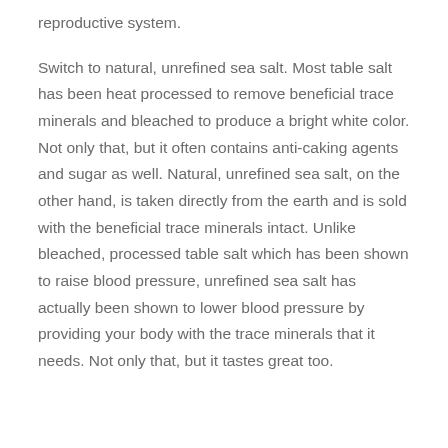reproductive system.
Switch to natural, unrefined sea salt. Most table salt has been heat processed to remove beneficial trace minerals and bleached to produce a bright white color. Not only that, but it often contains anti-caking agents and sugar as well. Natural, unrefined sea salt, on the other hand, is taken directly from the earth and is sold with the beneficial trace minerals intact. Unlike bleached, processed table salt which has been shown to raise blood pressure, unrefined sea salt has actually been shown to lower blood pressure by providing your body with the trace minerals that it needs. Not only that, but it tastes great too.